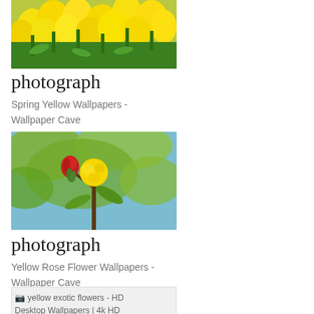[Figure (photo): Field of yellow tulips photographed from a low angle, showing dense blooms against green stems]
photograph
Spring Yellow Wallpapers - Wallpaper Cave
[Figure (photo): Yellow and red rose buds on a branch with green foliage against a blue sky background]
photograph
Yellow Rose Flower Wallpapers - Wallpaper Cave
[Figure (photo): Broken image placeholder with alt text: yellow exotic flowers - HD Desktop Wallpapers | 4k HD]